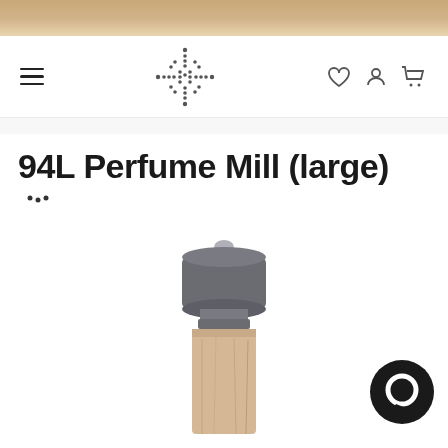[Figure (screenshot): Tan/gold gradient header banner at top of webpage]
[Figure (screenshot): Navigation bar with hamburger menu on left, decorative dotted cross/flower logo in center, and heart/user/cart icons on right]
94L Perfume Mill (large)
[Figure (screenshot): Small dotted star/rating symbols below the product title]
[Figure (photo): Pepper mill / perfume mill product photo showing a wooden cylindrical body with a dark gray top cap and silver metal knob, partially cropped. A dark circular chat bubble icon appears in the bottom right corner.]